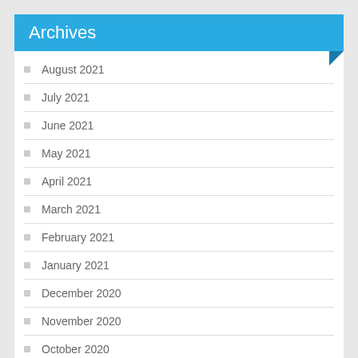Archives
August 2021
July 2021
June 2021
May 2021
April 2021
March 2021
February 2021
January 2021
December 2020
November 2020
October 2020
September 2020
August 2020